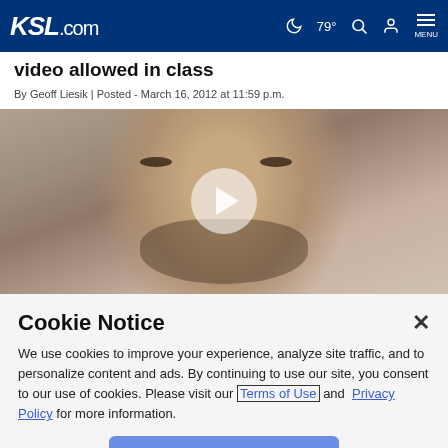KSL.com | 79° MENU
video allowed in class
By Geoff Liesik | Posted - March 16, 2012 at 11:59 p.m.
[Figure (photo): Mugshot-style photo of a man with dark stubble and a play button overlay indicating a video]
Cookie Notice
We use cookies to improve your experience, analyze site traffic, and to personalize content and ads. By continuing to use our site, you consent to our use of cookies. Please visit our Terms of Use and Privacy Policy for more information.
Continue